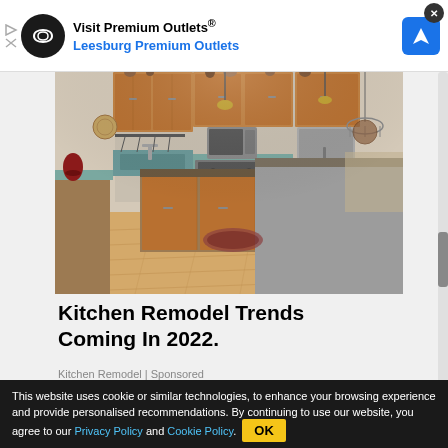[Figure (screenshot): Top advertisement banner: Visit Premium Outlets® Leesburg Premium Outlets with infinity logo and navigation icon]
[Figure (photo): Kitchen photo showing remodeled kitchen with wood cabinets, island, stainless appliances, and hardwood floors]
Kitchen Remodel Trends Coming In 2022.
Kitchen Remodel | Sponsored
[Figure (screenshot): Bottom advertisement banner: Leesburg OPEN 10AM-9PM with address and navigation icon]
This website uses cookie or similar technologies, to enhance your browsing experience and provide personalised recommendations. By continuing to use our website, you agree to our Privacy Policy and Cookie Policy. OK